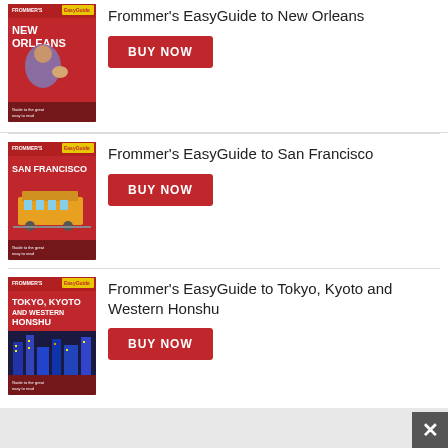[Figure (illustration): Book cover: Frommer's EasyGuide to New Orleans, red cover with a person holding a dog]
Frommer's EasyGuide to New Orleans
BUY NOW
[Figure (illustration): Book cover: Frommer's EasyGuide to San Francisco, red cover with a cable car]
Frommer's EasyGuide to San Francisco
BUY NOW
[Figure (illustration): Book cover: Frommer's EasyGuide to Tokyo, Kyoto and Western Honshu, red cover with city lights]
Frommer's EasyGuide to Tokyo, Kyoto and Western Honshu
BUY NOW